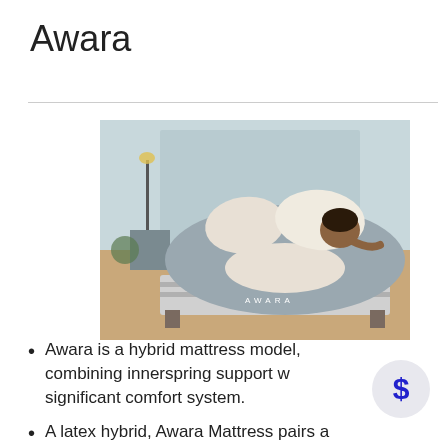Awara
[Figure (photo): A woman lying in bed on an Awara mattress with grey and white bedding, smiling. The AWARA brand name is visible on the side of the mattress.]
Awara is a hybrid mattress model, combining innerspring support with significant comfort system.
A latex hybrid, Awara Mattress pairs a